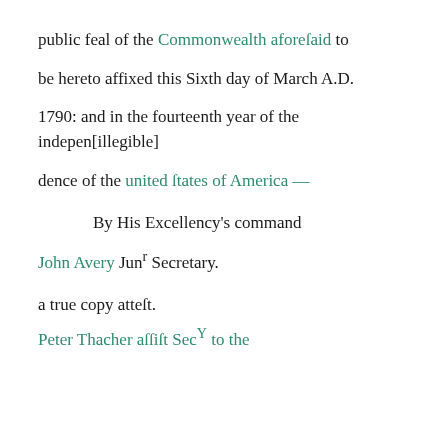public feal of the Commonwealth aforeſaid to
be hereto affixed this Sixth day of March A.D.
1790: and in the fourteenth year of the indepen[illegible]
dence of the united ſtates of America —
By His Excellency's command
John Avery Junr Secretary.
a true copy atteſt.
Peter Thacher aſſiſt SecY to the